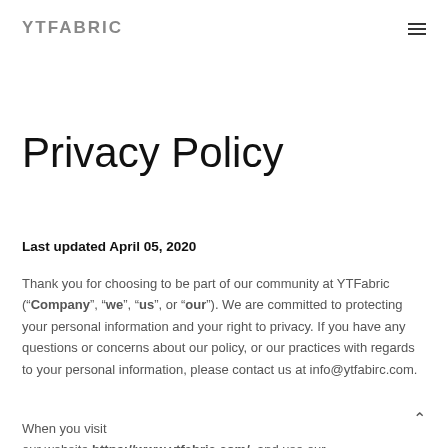YTFABRIC
Privacy Policy
Last updated April 05, 2020
Thank you for choosing to be part of our community at YTFabric (“Company”, “we”, “us”, or “our”). We are committed to protecting your personal information and your right to privacy. If you have any questions or concerns about our policy, or our practices with regards to your personal information, please contact us at info@ytfabirc.com.
When you visit our website https://www.ytfabric.com/, and use our